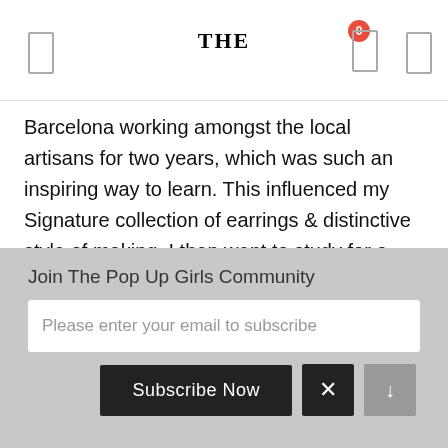THE
Barcelona working amongst the local artisans for two years, which was such an inspiring way to learn. This influenced my Signature collection of earrings & distinctive style of making. I then went to study for a post-masters degree in the UK where I honed in on my manufacturing skills & learnt new techniques. Since then, I have watched my brand organically grow and it's a complete joy to be pursuing something that I absolutely adore. It would be amazing to collaborate with you guys! I feel we could be
Join The Pop Up Girls Community
Please enter your email to subscribe
Subscribe Now